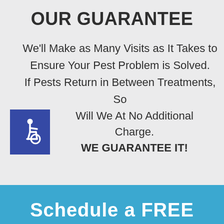OUR GUARANTEE
We'll Make as Many Visits as It Takes to Ensure Your Pest Problem is Solved. If Pests Return in Between Treatments, So Will We At No Additional Charge. WE GUARANTEE IT!
[Figure (logo): Wheelchair accessibility icon — white figure in wheelchair on blue square background]
Schedule a FREE